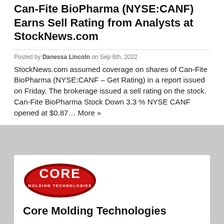Can-Fite BioPharma (NYSE:CANF) Earns Sell Rating from Analysts at StockNews.com
Posted by Danessa Lincoln on Sep 6th, 2022
StockNews.com assumed coverage on shares of Can-Fite BioPharma (NYSE:CANF – Get Rating) in a report issued on Friday. The brokerage issued a sell rating on the stock. Can-Fite BioPharma Stock Down 3.3 % NYSE CANF opened at $0.87… More »
[Figure (logo): Core Molding Technologies oval red logo with white text reading CORE MOLDING TECHNOLOGIES]
Core Molding Technologies